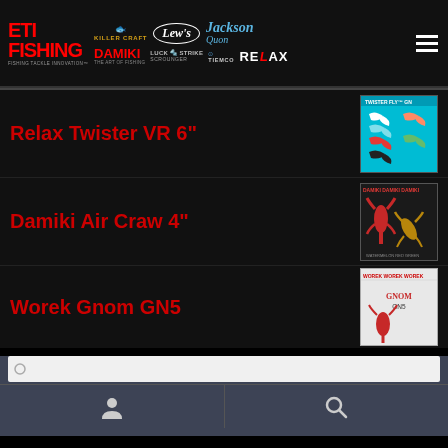[Figure (logo): ETI Fishing website header with brand logos: ETI Fishing, Killer Craft, Lew's, Jackson Quon, Damiki, Luck Strike Scrounger, Tiemco, Relax. Hamburger menu icon on right.]
Relax Twister VR 6"
[Figure (photo): Product image of Relax Twister VR 6" fishing lures on cyan background showing various colored twister tail grubs]
Damiki Air Craw 4"
[Figure (photo): Product image of Damiki Air Craw 4" fishing lures showing red and natural craw-style baits]
Worek Gnom GN5
[Figure (photo): Partial product image of Worek Gnom GN5 fishing lures on light background]